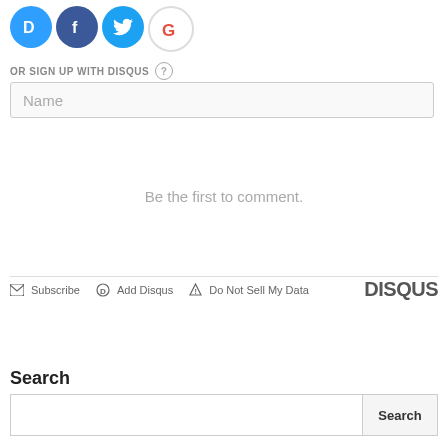[Figure (logo): Social login icons: Disqus (blue circle with D), Facebook (dark blue circle with f), Twitter (light blue circle with bird), Google (white circle with G)]
OR SIGN UP WITH DISQUS ?
Name
Be the first to comment.
Subscribe   Add Disqus   Do Not Sell My Data   DISQUS
Search
Search